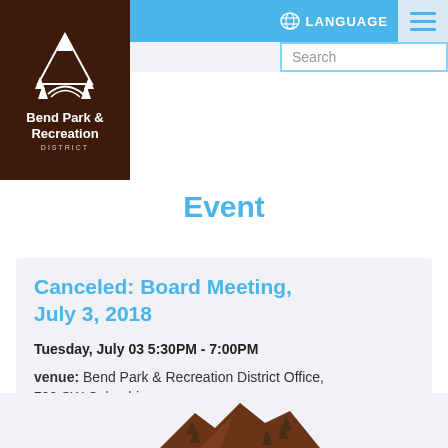[Figure (logo): Bend Park & Recreation District logo: white mountain/tree silhouette on dark brown background with text 'Bend Park & Recreation DISTRICT']
LANGUAGE
Event
Canceled: Board Meeting, July 3, 2018
Tuesday, July 03 5:30PM - 7:00PM
venue: Bend Park & Recreation District Office, 799 SW Columbia